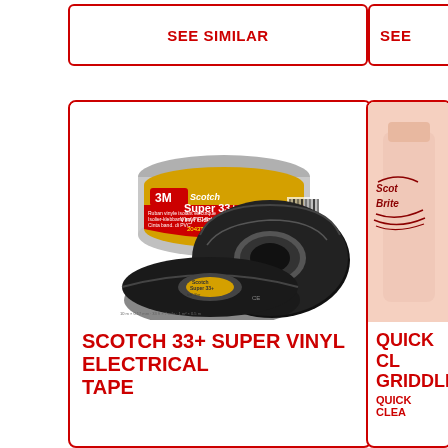SEE SIMILAR
SEE
[Figure (photo): 3M Scotch Super 33+ Vinyl Electrical Tape product image showing two black tape rolls and one tin canister with yellow and red label]
SCOTCH 33+ SUPER VINYL ELECTRICAL TAPE
[Figure (photo): Partial image of a pink/salmon colored bottle product (Quick Clean Griddle cleaner), cropped at right edge]
QUICK CL GRIDDLE
QUICK CLEA